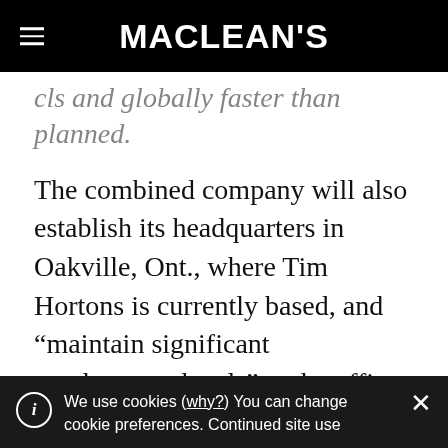MACLEAN'S
cls and globally faster than planned.
The combined company will also establish its headquarters in Oakville, Ont., where Tim Hortons is currently based, and “maintain significant employment levels” at the office.
ADVERTISEMENT
It will list on the Toronto Stock Exchange
We use cookies (why?) You can change cookie preferences. Continued site use